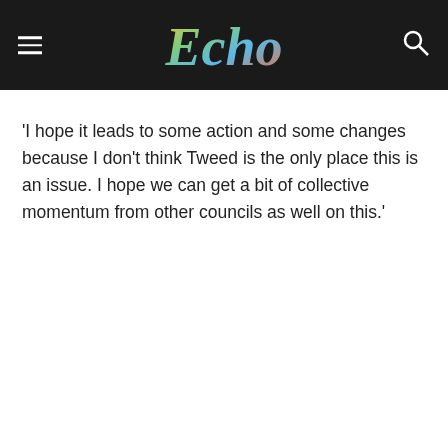Echo
‘I hope it leads to some action and some changes because I don’t think Tweed is the only place this is an issue. I hope we can get a bit of collective momentum from other councils as well on this.’